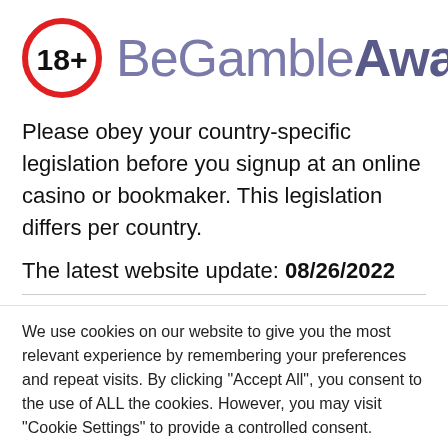[Figure (logo): BeGambleAware logo with 18+ badge circle in red and brand name in purple/grey]
Please obey your country-specific legislation before you signup at an online casino or bookmaker. This legislation differs per country.
The latest website update: 08/26/2022
We use cookies on our website to give you the most relevant experience by remembering your preferences and repeat visits. By clicking "Accept All", you consent to the use of ALL the cookies. However, you may visit "Cookie Settings" to provide a controlled consent.
Cookie Settings | Accept All